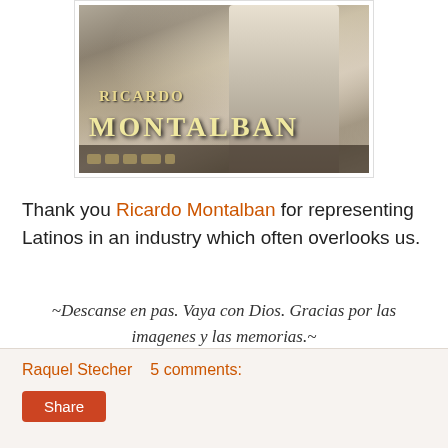[Figure (photo): Black and white / sepia photo of Ricardo Montalban with arms crossed, with text overlay reading 'Ricardo MONTALBAN']
Thank you Ricardo Montalban for representing Latinos in an industry which often overlooks us.
~Descanse en pas. Vaya con Dios. Gracias por las imagenes y las memorias.~
Raquel Stecher   5 comments:   Share